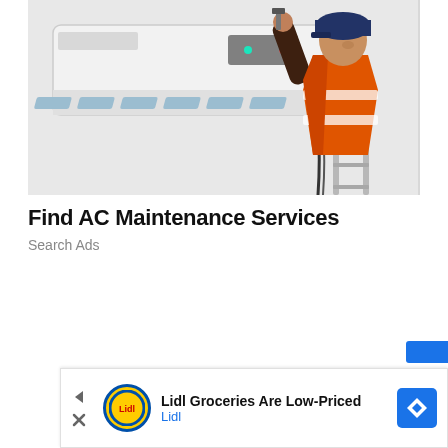[Figure (photo): A technician in an orange safety vest and dark cap servicing a wall-mounted air conditioning unit, standing on a ladder against a white wall.]
Find AC Maintenance Services
Search Ads
[Figure (infographic): Advertisement banner showing Lidl logo and text 'Lidl Groceries Are Low-Priced' with Lidl brand name and a navigation/map icon.]